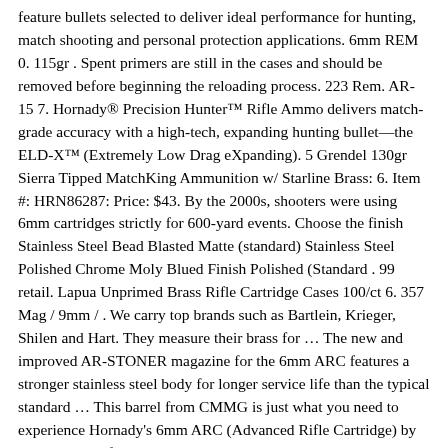feature bullets selected to deliver ideal performance for hunting, match shooting and personal protection applications. 6mm REM 0. 115gr . Spent primers are still in the cases and should be removed before beginning the reloading process. 223 Rem. AR-15 7. Hornady® Precision Hunter™ Rifle Ammo delivers match-grade accuracy with a high-tech, expanding hunting bullet—the ELD-X™ (Extremely Low Drag eXpanding). 5 Grendel 130gr Sierra Tipped MatchKing Ammunition w/ Starline Brass: 6. Item #: HRN86287: Price: $43. By the 2000s, shooters were using 6mm cartridges strictly for 600-yard events. Choose the finish Stainless Steel Bead Blasted Matte (standard) Stainless Steel Polished Chrome Moly Blued Finish Polished (Standard . 99 retail. Lapua Unprimed Brass Rifle Cartridge Cases 100/ct 6. 357 Mag / 9mm / . We carry top brands such as Bartlein, Krieger, Shilen and Hart. They measure their brass for … The new and improved AR-STONER magazine for the 6mm ARC features a stronger stainless steel body for longer service life than the typical standard … This barrel from CMMG is just what you need to experience Hornady's 6mm ARC (Advanced Rifle Cartridge) by utilizing one of CMMG's dedicated 6mm ARC barrel sub-assemblies on your next … Brownells is your source for 6mm Arc Brass at Brownells parts and accessories. 270 Win Short Magnum. Hornady 6mm ARC Unprimed Brass (50) Permanent Link to Product Page. 223 Remington 55gr Ballistic Tip Varmint Ammunition (20ct) (BLEM) Add to … 6mm Creedmoor 90 gr. 99 or Soft Cover for $26. Lee